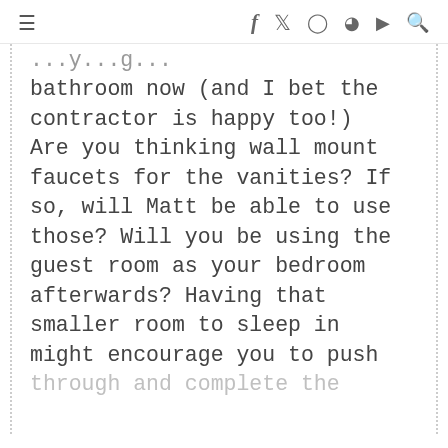≡  f  t  ☆  ⊙  ▶  🔍
bathroom now (and I bet the contractor is happy too!) Are you thinking wall mount faucets for the vanities? If so, will Matt be able to use those? Will you be using the guest room as your bedroom afterwards? Having that smaller room to sleep in might encourage you to push through and complete the